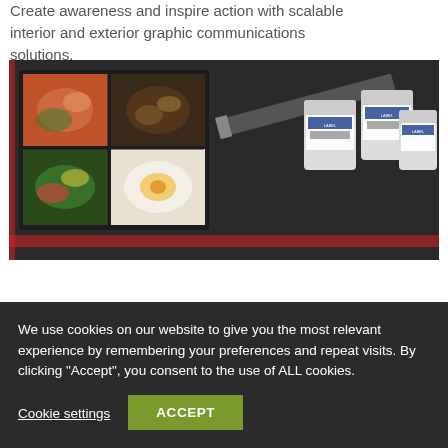Create awareness and inspire action with scalable interior and exterior graphic communications solutions.
[Figure (photo): Close-up photo of a dark foam-lined box containing printed food photography cards showing dishes, a knife, and several small labeled spice jars.]
We use cookies on our website to give you the most relevant experience by remembering your preferences and repeat visits. By clicking "Accept", you consent to the use of ALL cookies.
Cookie settings   ACCEPT